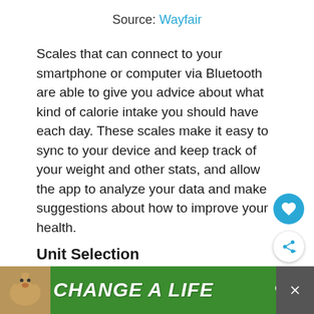Source: Wayfair
Scales that can connect to your smartphone or computer via Bluetooth are able to give you advice about what kind of calorie intake you should have each day. These scales make it easy to sync to your device and keep track of your weight and other stats, and allow the app to analyze your data and make suggestions about how to improve your health.
Unit Selection
[Figure (other): Advertisement banner with a dog image and text 'CHANGE A LIFE' on a green background with close buttons]